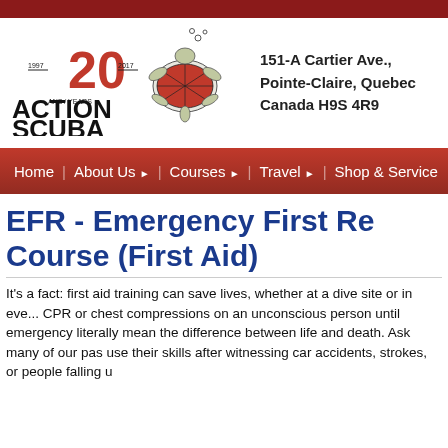[Figure (logo): Action Scuba 20th anniversary logo (1997-2017) with a sea turtle illustration]
151-A Cartier Ave., Pointe-Claire, Quebec Canada H9S 4R9
[Figure (other): Navigation bar with links: Home | About Us | Courses | Travel | Shop & Service]
EFR - Emergency First Response Course (First Aid)
It's a fact: first aid training can save lives, whether at a dive site or in everyday life. Knowing how to perform CPR or chest compressions on an unconscious person until emergency services arrive can literally mean the difference between life and death. Ask many of our past students who have had to use their skills after witnessing car accidents, strokes, or people falling u...